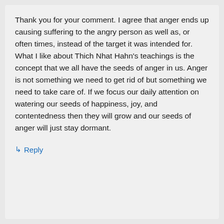Thank you for your comment. I agree that anger ends up causing suffering to the angry person as well as, or often times, instead of the target it was intended for. What I like about Thich Nhat Hahn's teachings is the concept that we all have the seeds of anger in us. Anger is not something we need to get rid of but something we need to take care of. If we focus our daily attention on watering our seeds of happiness, joy, and contentedness then they will grow and our seeds of anger will just stay dormant.
↳ Reply